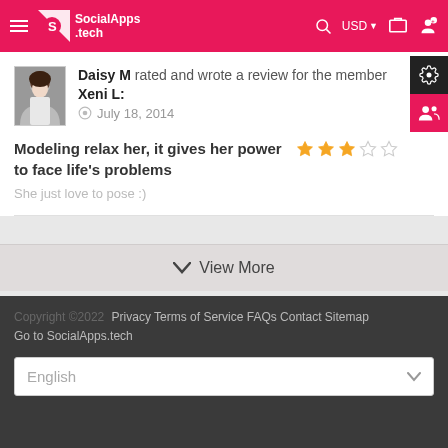SocialApps.tech — navigation header with hamburger menu, search, USD currency selector, cart, and user icons
Daisy M rated and wrote a review for the member Xeni L: July 18, 2014
Modeling relax her, it gives her power to face life's problems — 3 out of 5 stars
She just love to pose :)
View More
Copyright ©2022 Privacy Terms of Service FAQs Contact Sitemap Go to SocialApps.tech English